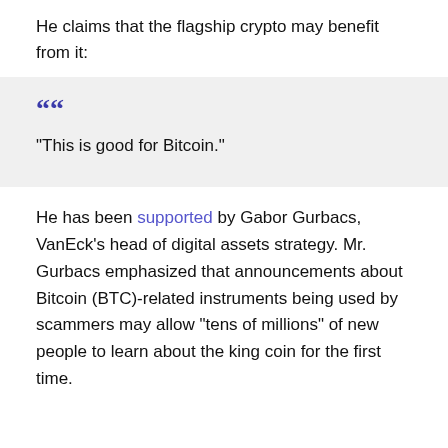He claims that the flagship crypto may benefit from it:
““

"This is good for Bitcoin."
He has been supported by Gabor Gurbacs, VanEck’s head of digital assets strategy. Mr. Gurbacs emphasized that announcements about Bitcoin (BTC)-related instruments being used by scammers may allow "tens of millions" of new people to learn about the king coin for the first time.